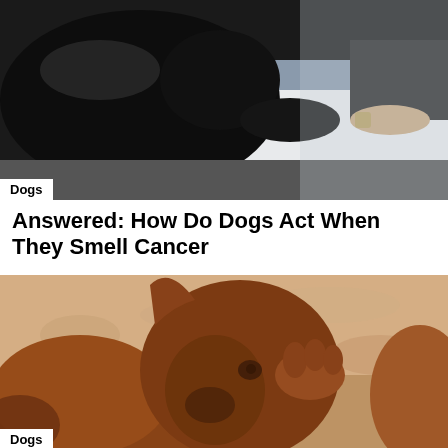[Figure (photo): A dark-colored dog sniffing or interacting with a person wearing white shorts and black top, outdoors on what appears to be a surface.]
Dogs
Answered: How Do Dogs Act When They Smell Cancer
[Figure (photo): Close-up of a brown/reddish dog scratching itself with its paw, outdoors with sandy/rocky background in warm golden light.]
Dogs
How to Keep Ticks Off Dogs: 7 Best Prevention